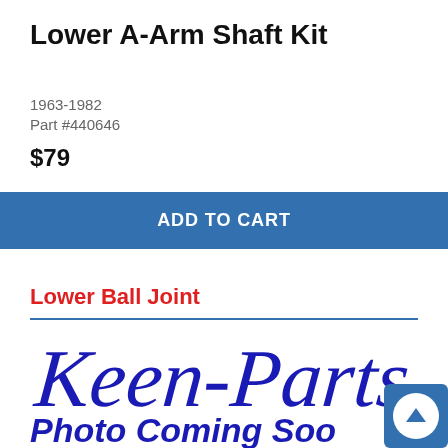Lower A-Arm Shaft Kit
1963-1982
Part #440646
$79
ADD TO CART
Lower Ball Joint
[Figure (logo): Keen Parts cursive script logo in dark blue]
Photo Coming Soo